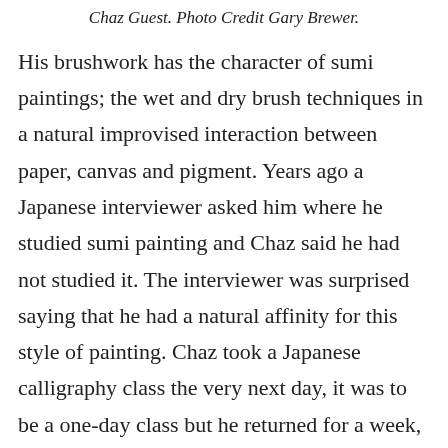Chaz Guest. Photo Credit Gary Brewer.
His brushwork has the character of sumi paintings; the wet and dry brush techniques in a natural improvised interaction between paper, canvas and pigment. Years ago a Japanese interviewer asked him where he studied sumi painting and Chaz said he had not studied it. The interviewer was surprised saying that he had a natural affinity for this style of painting. Chaz took a Japanese calligraphy class the very next day, it was to be a one-day class but he returned for a week, gaining an appreciation and a deeper sense of something that was intrinsic and natural